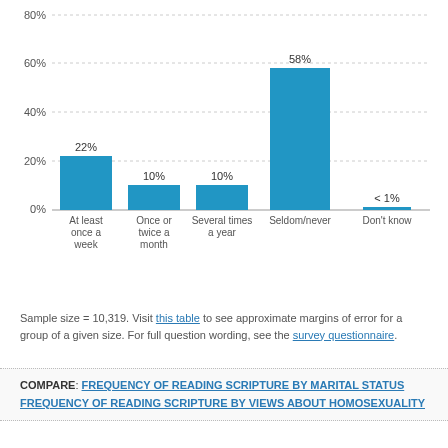[Figure (bar-chart): ]
Sample size = 10,319. Visit this table to see approximate margins of error for a group of a given size. For full question wording, see the survey questionnaire.
COMPARE: FREQUENCY OF READING SCRIPTURE BY MARITAL STATUS   FREQUENCY OF READING SCRIPTURE BY VIEWS ABOUT HOMOSEXUALITY